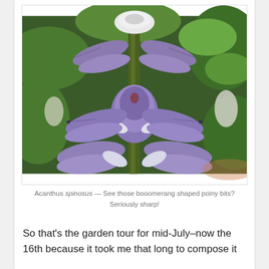[Figure (photo): Close-up photograph of Acanthus spinosus plant in bloom, showing purple and white flowers with distinctive boomerang-shaped spiny bracts along a central green stem, with green foliage in the background.]
Acanthus spinosus — See those booomerang shaped poiny bits? Seriously sharp!
So that's the garden tour for mid-July–now the 16th because it took me that long to compose it